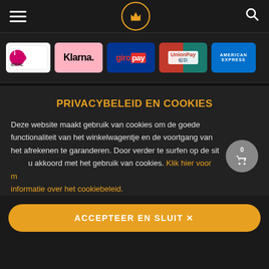Navigation header with hamburger menu, crown logo, and search icon
[Figure (logo): Payment method logos: iDEAL, Klarna, giropay, UnionPay, American Express]
PRIVACYBELEID EN COOKIES
Deze website maakt gebruik van cookies om de goede functionaliteit van het winkelwagentje en de voortgang van het afrekenen te garanderen. Door verder te surfen op de site gaat u akkoord met het gebruik van cookies. Klik hier voor meer informatie over het cookiebeleid.
ACCEPTEER EN SLUIT ✕